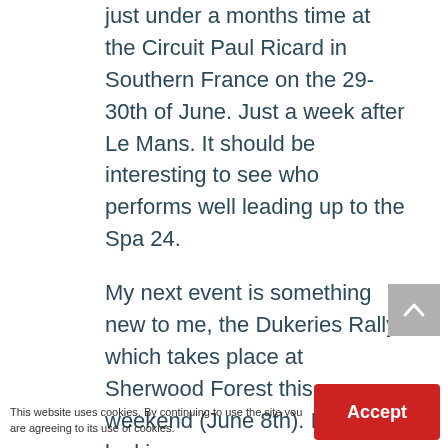just under a months time at the Circuit Paul Ricard in Southern France on the 29-30th of June. Just a week after Le Mans. It should be interesting to see who performs well leading up to the Spa 24.
My next event is something new to me, the Dukeries Rally which takes place at Sherwood Forest this weekend (June 8th). I'm really looking
This website uses cookies. By continuing to use the site you are agreeing to its use of cookies.
Accept